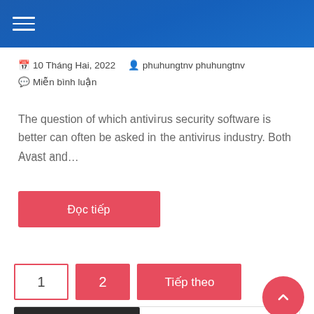Navigation header bar with hamburger menu
📅 10 Tháng Hai, 2022  👤 phuhungtnv phuhungtnv  💬 Miễn bình luận
The question of which antivirus security software is better can often be asked in the antivirus industry. Both Avast and…
Đọc tiếp
1  2  Tiếp theo
Tìm kiếm ...